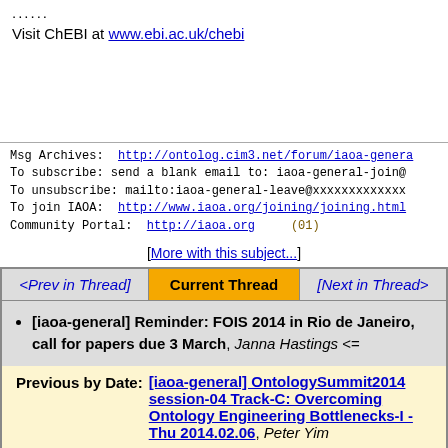......
Visit ChEBI at www.ebi.ac.uk/chebi
Msg Archives: http://ontolog.cim3.net/forum/iaoa-genera
To subscribe: send a blank email to: iaoa-general-join@
To unsubscribe: mailto:iaoa-general-leave@xxxxxxxxxxxxx
To join IAOA: http://www.iaoa.org/joining/joining.html
Community Portal: http://iaoa.org    (01)
[More with this subject...]
<Prev in Thread>  Current Thread  [Next in Thread>
[iaoa-general] Reminder: FOIS 2014 in Rio de Janeiro, call for papers due 3 March, Janna Hastings <=
Previous by Date: [iaoa-general] OntologySummit2014 session-04 Track-C: Overcoming Ontology Engineering Bottlenecks-I - Thu 2014.02.06, Peter Yim